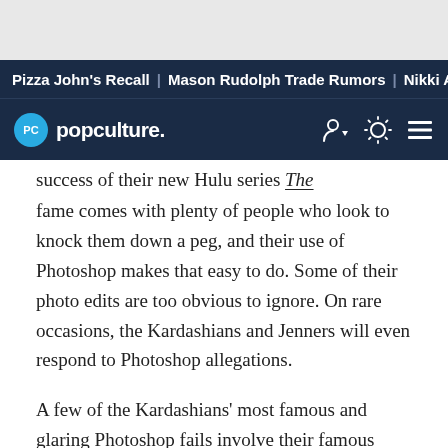Pizza John's Recall | Mason Rudolph Trade Rumors | Nikki A
[Figure (logo): Popculture.com logo with navigation icons on dark navy background]
success of their new Hulu series The Kardashians. Their fame comes with plenty of people who look to knock them down a peg, and their use of Photoshop makes that easy to do. Some of their photo edits are too obvious to ignore. On rare occasions, the Kardashians and Jenners will even respond to Photoshop allegations.

A few of the Kardashians' most famous and glaring Photoshop fails involve their famous Calvin Klein ad, which shows Kourtney Kardashian sporting an oddly tiny right arm. A previous Calvin Klein campaign photo also puzzled fans, with Kim Kardashian looking Photoshopped to the